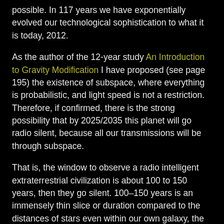possible. In 117 years we have exponentially evolved our technological sophistication to what it is today, 2012.
As the author of the 12-year study An Introduction to Gravity Modification I have proposed (see page 195) the existence of subspace, where everything is probabilistic, and light speed is not a restriction. Therefore, if confirmed, there is the strong possibility that by 2025/2035 this planet will go radio silent, because all our transmissions will be through subspace.
That is, the window to observe a radio intelligent extraterrestrial civilization is about 100 to 150 years, then they go silent. 100–150 years is an immensely thin slice or duration compared to the distances of stars even within our own galaxy, the Milky Way. Or the probability of detecting extraterrestrial radio transmissions within our own galaxy is approximately 1.25 × 10^-6. It is actually a little better than this but I am using quick & dirty for this blog posting, and this